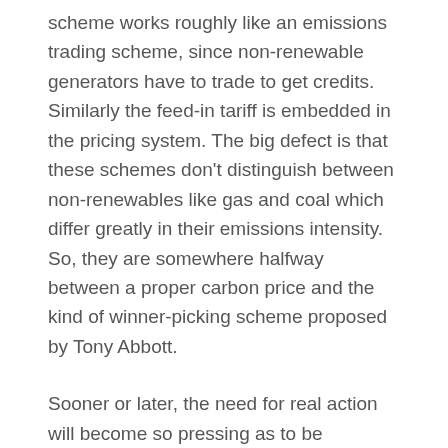scheme works roughly like an emissions trading scheme, since non-renewable generators have to trade to get credits. Similarly the feed-in tariff is embedded in the pricing system. The big defect is that these schemes don't distinguish between non-renewables like gas and coal which differ greatly in their emissions intensity. So, they are somewhere halfway between a proper carbon price and the kind of winner-picking scheme proposed by Tony Abbott.
Sooner or later, the need for real action will become so pressing as to be irresistible. In the meantime, efforts like the REC scheme will help to drive continuing innovation. The economic cost of responding to climate change will be much higher than it would have been had there not been so much delay and delusion on the subject, and the damage to the global environment much greater. But that's